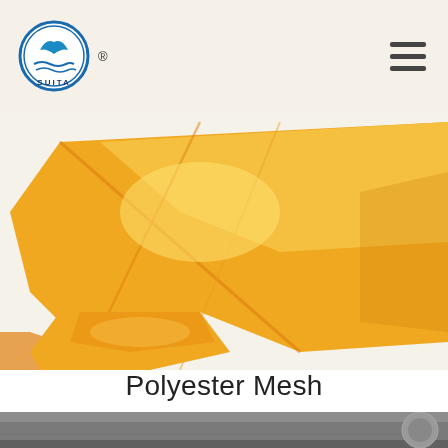Suita (logo) ®
[Figure (photo): Yellow/orange polyester mesh fabric folded and draped against a white background]
Polyester Mesh
[Figure (photo): Grey rolled mesh material shown at the bottom of the page]